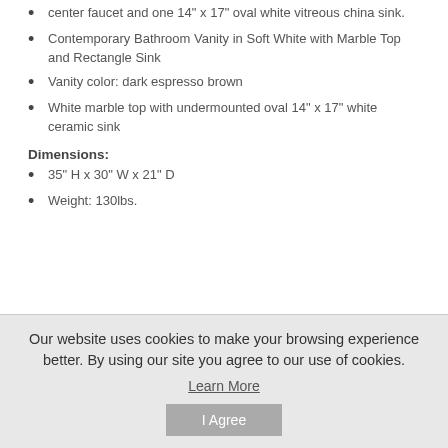center faucet and one 14" x 17" oval white vitreous china sink.
Contemporary Bathroom Vanity in Soft White with Marble Top and Rectangle Sink
Vanity color: dark espresso brown
White marble top with undermounted oval 14" x 17" white ceramic sink
Dimensions:
35" H x 30" W x 21" D
Weight: 130lbs.
Our website uses cookies to make your browsing experience better. By using our site you agree to our use of cookies.
Learn More
I Agree